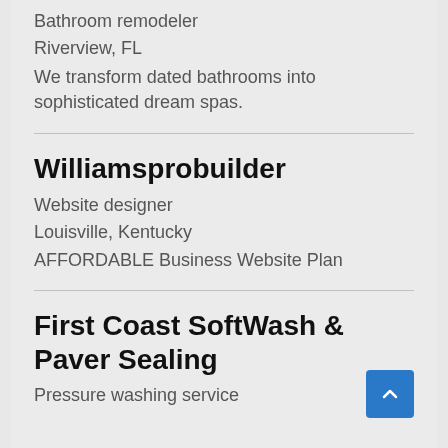Bathroom remodeler
Riverview, FL
We transform dated bathrooms into sophisticated dream spas.
Williamsprobuilder
Website designer
Louisville, Kentucky
AFFORDABLE Business Website Plan
First Coast SoftWash & Paver Sealing
Pressure washing service